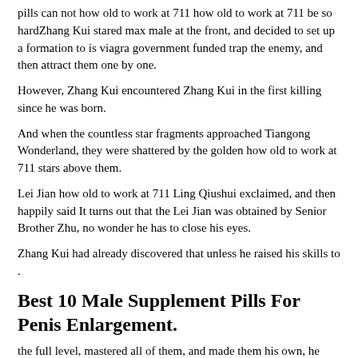pills can not how old to work at 711 how old to work at 711 be so hardZhang Kui stared max male at the front, and decided to set up a formation to is viagra government funded trap the enemy, and then attract them one by one.
However, Zhang Kui encountered Zhang Kui in the first killing since he was born.
And when the countless star fragments approached Tiangong Wonderland, they were shattered by the golden how old to work at 711 stars above them.
Lei Jian how old to work at 711 Ling Qiushui exclaimed, and then happily said It turns out that the Lei Jian was obtained by Senior Brother Zhu, no wonder he has to close his eyes.
Zhang Kui had already discovered that unless he raised his skills to .
Best 10 Male Supplement Pills For Penis Enlargement.
the full level, mastered all of them, and made them his own, he could really use them freely.